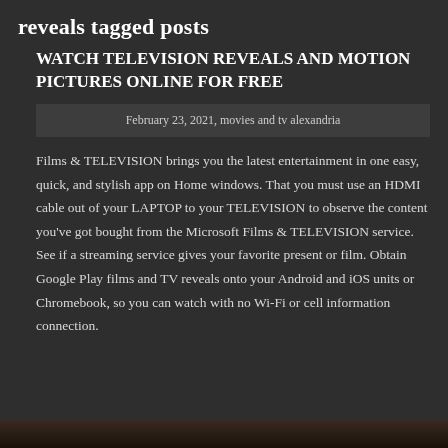reveals tagged posts
WATCH TELEVISION REVEALS AND MOTION PICTURES ONLINE FOR FREE
February 23, 2021, movies and tv alexandria
Films & TELEVISION brings you the latest entertainment in one easy, quick, and stylish app on Home windows. That you must use an HDMI cable out of your LAPTOP to your TELEVISION to observe the content you've got bought from the Microsoft Films & TELEVISION service. See if a streaming service gives your favorite present or film. Obtain Google Play films and TV reveals onto your Android and iOS units or Chromebook, so you can watch with no Wi-Fi or cell information connection.
[Figure (photo): Partial image visible at bottom of page, dark tones]